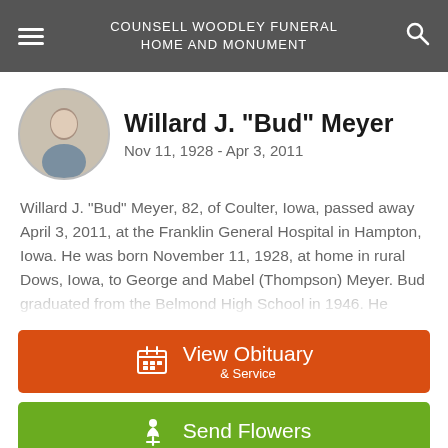COUNSELL WOODLEY FUNERAL HOME AND MONUMENT
[Figure (photo): Circular portrait photo of Willard J. Bud Meyer, an elderly man]
Willard J. "Bud" Meyer
Nov 11, 1928 - Apr 3, 2011
Willard J. "Bud" Meyer, 82, of Coulter, Iowa, passed away April 3, 2011, at the Franklin General Hospital in Hampton, Iowa. He was born November 11, 1928, at home in rural Dows, Iowa, to George and Mabel (Thompson) Meyer. Bud graduated from the Belmond High School in 1946. He
View Obituary & Service
Send Flowers
Share